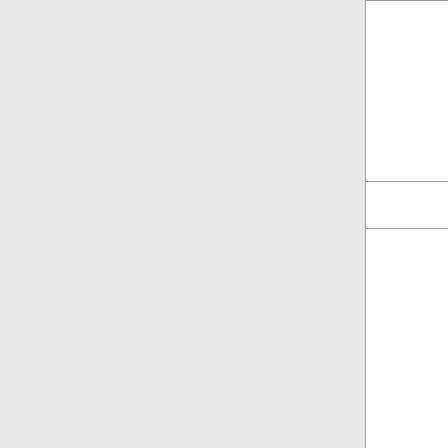|  | in chronological order starting with the most recent scans. |
|  | + |
|  | c. Clicking on any of the headers (except file download) will sort the table according to the clicked header. |
|  | + |
|  | d. To download your zip file click on the file name in the file download column. |
|  | + |
|  | e. The search box will search the |